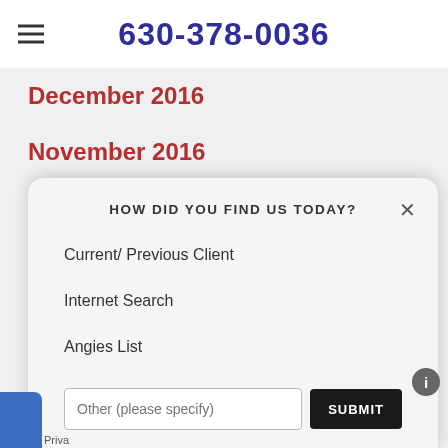630-378-0036
December 2016
November 2016
October 2016
September 2016
August 2016
HOW DID YOU FIND US TODAY?
Current/ Previous Client
Internet Search
Angies List
Other (please specify)
SUBMIT